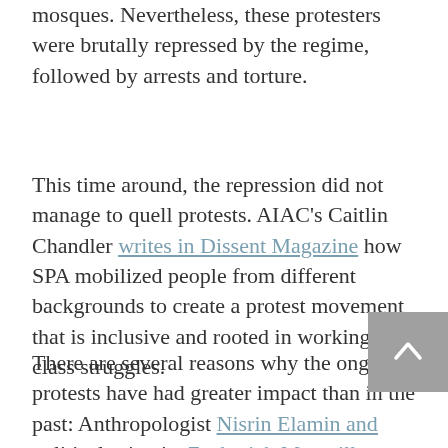mosques. Nevertheless, these protesters were brutally repressed by the regime, followed by arrests and torture.
This time around, the repression did not manage to quell protests. AIAC's Caitlin Chandler writes in Dissent Magazine how SPA mobilized people from different backgrounds to create a protest movement that is inclusive and rooted in working-class struggles.
There are several reasons why the ongoing protests have had greater impact than in the past: Anthropologist Nisrin Elamin and political scientist Zachariah Mampilly point to four key factors: First, they have reached outside the capital Khartoum; second, opposition parties